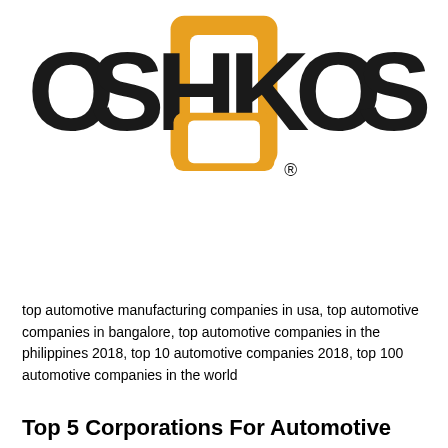[Figure (logo): Oshkosh Corporation logo — bold black uppercase letters 'OSHKOSH' with a gold/orange rectangular 'O' symbol in the center between the K letters, and a registered trademark symbol]
top automotive manufacturing companies in usa, top automotive companies in bangalore, top automotive companies in the philippines 2018, top 10 automotive companies 2018, top 100 automotive companies in the world
Top 5 Corporations For Automotive